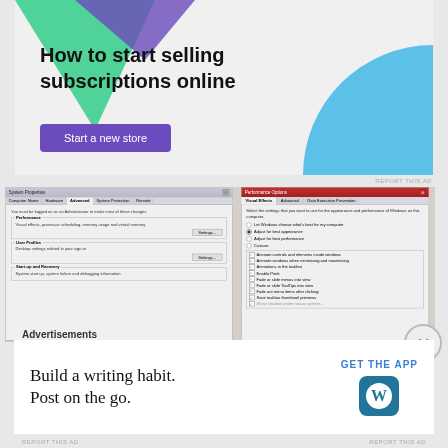[Figure (screenshot): Advertisement banner: 'How to start selling subscriptions online' with 'Start a new store' button, purple/green/blue decorative shapes on light gray background]
REPORT THIS AD
[Figure (screenshot): Windows System Properties dialog (Advanced tab) and Performance Options dialog (Visual Effects tab with checkboxes) side by side]
Advertisements
[Figure (screenshot): Advertisement: 'Build a writing habit. Post on the go.' with 'GET THE APP' button and WordPress icon]
REPORT THIS AD
REPORT THIS AD